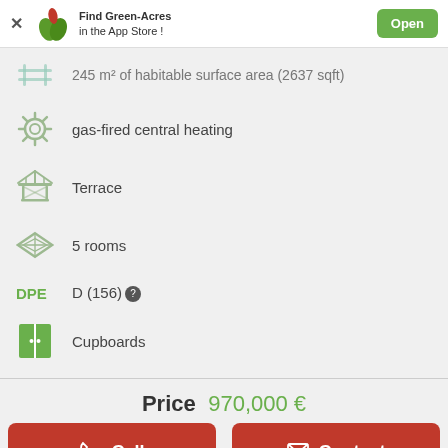[Figure (screenshot): Green-Acres app store banner with logo, text 'Find Green-Acres in the App Store!', and green Open button]
245 m² of habitable surface area (2637 sqft)
gas-fired central heating
Terrace
5 rooms
DPE D (156)
Cupboards
Price 970,000 €
Call
Contact
other currency